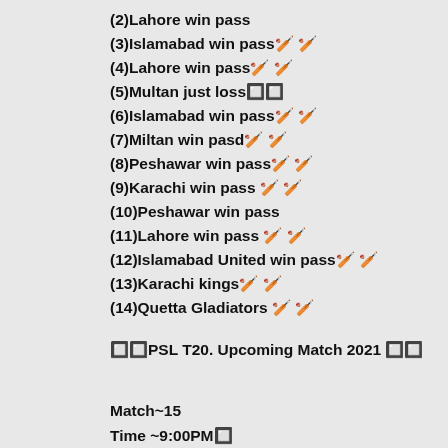(2)Lahore win pass
(3)Islamabad win pass🏏 🏏
(4)Lahore win pass🏏 🏏
(5)Multan just loss🔲
(6)Islamabad win pass🏏 🏏
(7)Miltan win pasd🏏 🏏
(8)Peshawar win pass🏏 🏏
(9)Karachi win pass 🏏 🏏
(10)Peshawar win pass
(11)Lahore win pass 🏏 🏏
(12)Islamabad United win pass🏏 🏏
(13)Karachi kings🏏 🏏
(14)Quetta Gladiators 🏏 🏏
🔲🔲PSL T20. Upcoming Match 2021 🔲🔲
Match~15
Time ~9:00PM🔲
My Services➡